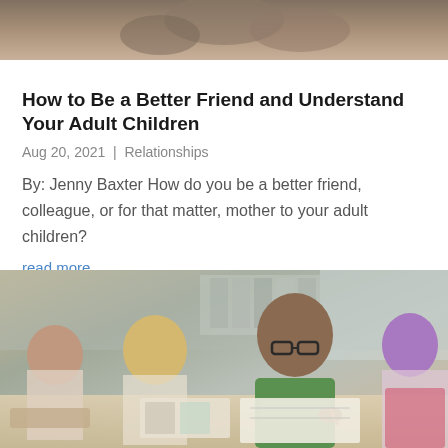[Figure (photo): Partial photo at top of page showing adults or people, cropped at bottom edge]
How to Be a Better Friend and Understand Your Adult Children
Aug 20, 2021  |  Relationships
By: Jenny Baxter How do you be a better friend, colleague, or for that matter, mother to your adult children?
read more
[Figure (photo): Classroom photo showing children sitting at desks writing. A boy wearing glasses and a green shirt is in focus in the foreground, with other children visible in the background.]